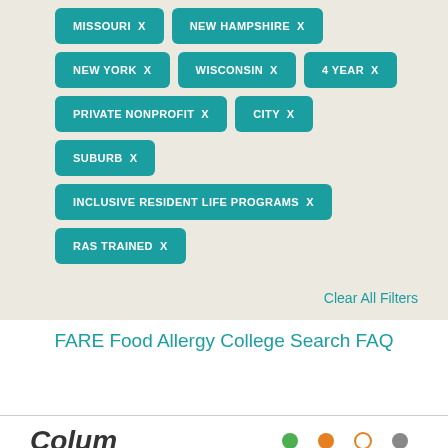MISSOURI X
NEW HAMPSHIRE X
NEW YORK X
WISCONSIN X
4 YEAR X
PRIVATE NONPROFIT X
CITY X
SUBURB X
INCLUSIVE RESIDENT LIFE PROGRAMS X
RAS TRAINED X
Clear All Filters
FARE Food Allergy College Search FAQ